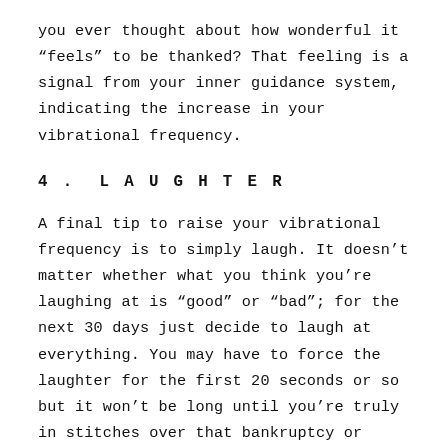you ever thought about how wonderful it “feels” to be thanked? That feeling is a signal from your inner guidance system, indicating the increase in your vibrational frequency.
4. LAUGHTER
A final tip to raise your vibrational frequency is to simply laugh. It doesn’t matter whether what you think you’re laughing at is “good” or “bad”; for the next 30 days just decide to laugh at everything. You may have to force the laughter for the first 20 seconds or so but it won’t be long until you’re truly in stitches over that bankruptcy or divorce. If you can’t laugh, you’re taking yourself too seriously. In the grand scheme of things it won’t be long until this serious situation, your personality, and your body will have all dissolved into